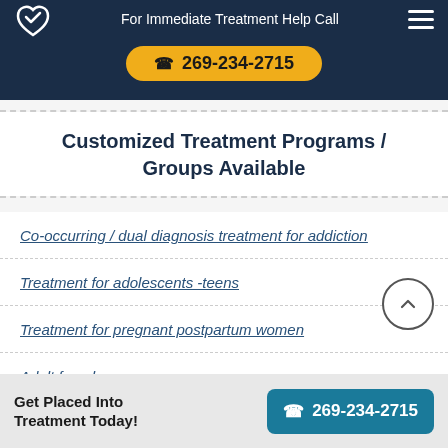For Immediate Treatment Help Call 269-234-2715
Customized Treatment Programs / Groups Available
Co-occurring / dual diagnosis treatment for addiction
Treatment for adolescents -teens
Treatment for pregnant postpartum women
Adult females
Get Placed Into Treatment Today! 269-234-2715